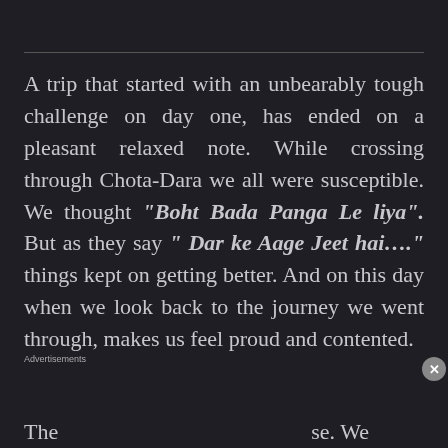A trip that started with an unbearably tough challenge on day one, has ended on a pleasant relaxed note. While crossing through Chota-Dara we all were susceptible. We thought "Boht Bada Panga Le liya". But as they say " Dar ke Aage Jeet hai...." things kept on getting better. And on this day when we look back to the journey we went through, makes us feel proud and contented.
[Figure (other): Tumblr Ad-Free Browsing advertisement banner showing $39.99 a year or $4.99 a month pricing with Tumblr logo]
The                                                          se. We